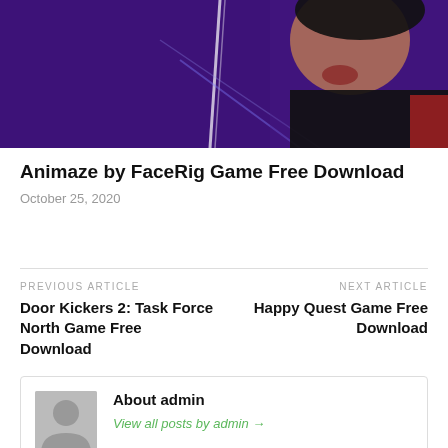[Figure (photo): Hero image of a person with dramatic purple and white light effects against a dark background]
Animaze by FaceRig Game Free Download
October 25, 2020
PREVIOUS ARTICLE
Door Kickers 2: Task Force North Game Free Download
NEXT ARTICLE
Happy Quest Game Free Download
About admin
View all posts by admin →